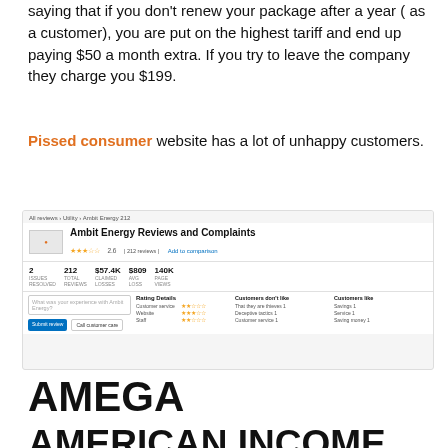saying that if you don't renew your package after a year (as a customer), you are put on the highest tariff and end up paying $50 a month extra. If you try to leave the company they charge you $199.
Pissed consumer website has a lot of unhappy customers.
[Figure (screenshot): Screenshot of Pissed Consumer website showing Ambit Energy Reviews and Complaints page. Shows a 2.6 star rating, 212 total reviews, $57.4K claimed losses, $809 avg loss, 140K page views. Rating details show Customer service, Website, and Staff with 2-3 star ratings. Customers don't like: that they are thieves, deceptive tactics, customer service. Customers like: savings, service, saving money. Has Submit review and Call customer care buttons.]
AMEGA
AMERICAN INCOME LIFE